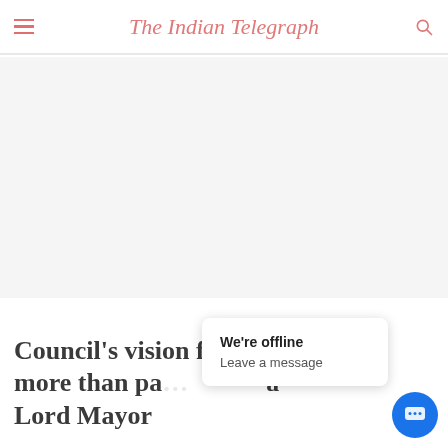The Indian Telegraph
[Figure (other): Large empty grey advertisement or image placeholder area]
Council's vision for Granville is more than pa... a Lord Mayor
We're offline
Leave a message